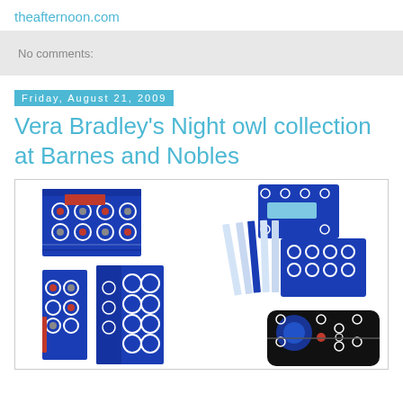theafternoon.com
No comments:
Friday, August 21, 2009
Vera Bradley's Night owl collection at Barnes and Nobles
[Figure (photo): Vera Bradley Night Owl collection stationery products including notebooks, pencils, and cases with blue and black floral/circle patterns]